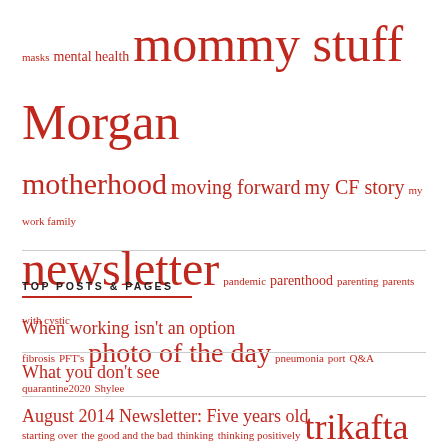masks mental health mommy stuff Morgan motherhood moving forward my CF story my work family newsletter pandemic parenthood parenting parents with cystic fibrosis PFT's photo of the day pneumonia port Q&A quarantine2020 Shylee starting over the good and the bad thinking thinking positively trikafta unsolicited advice
TOP POSTS & PAGES
When working isn't an option
What you don't see
August 2014 Newsletter: Five years old